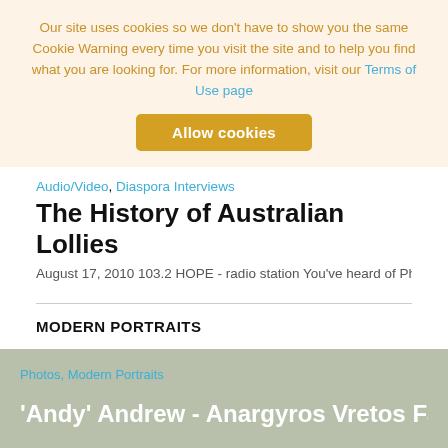Our site uses cookies so we don't have to show you the same Cookie Warning every time you visit the site and to help you find what you are looking for. For more information, visit our Terms of Use page
Allow cookies
Audio/Video, Diaspora Interviews
The History of Australian Lollies
August 17, 2010 103.2 HOPE - radio station You've heard of PhDs in science, me
MODERN PORTRAITS
Photos, Modern Portraits
'Andy' Andrew - Anargyros Vretos Fats